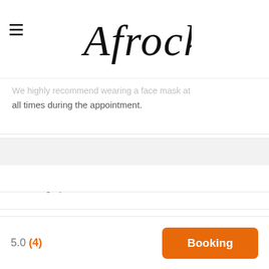Afrocks
We highly recommend wearing a face mask at all times during the appointment.
Traveling up to 8 miles from E5 9
5.0 (4)  Booking